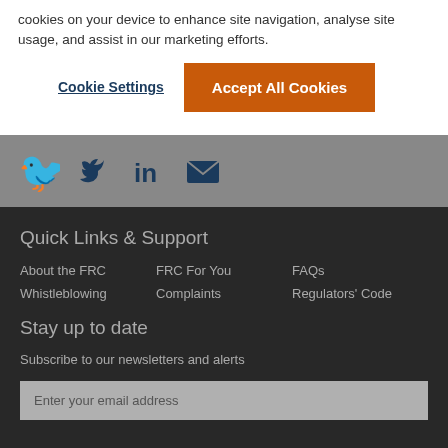cookies on your device to enhance site navigation, analyse site usage, and assist in our marketing efforts.
Cookie Settings
Accept All Cookies
[Figure (illustration): Social media icons: Twitter bird, LinkedIn 'in', email envelope, in dark blue on grey bar]
Quick Links & Support
About the FRC
FRC For You
FAQs
Whistleblowing
Complaints
Regulators' Code
Stay up to date
Subscribe to our newsletters and alerts
Enter your email address